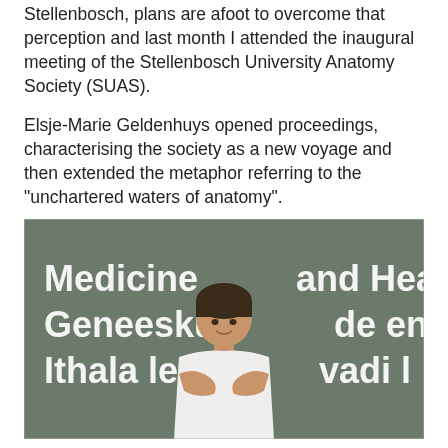Stellenbosch, plans are afoot to overcome that perception and last month I attended the inaugural meeting of the Stellenbosch University Anatomy Society (SUAS).
Elsje-Marie Geldenhuys opened proceedings, characterising the society as a new voyage and then extended the metaphor referring to the "unchartered waters of anatomy".
[Figure (photo): A woman in a white sleeveless top standing with arms crossed in front of a sign reading 'Medicine and Hea... Geneeskunde en G... Ithala le... vadi l...']
She introduced Dr Karin Baatjes, the head of the division of anatomy, who told us that the society  is at the heart of the division's desire to expand the presence of anatomy in the Health Sciences faculty.  The three pillars of the society are research, clinical application and education. The aim is to